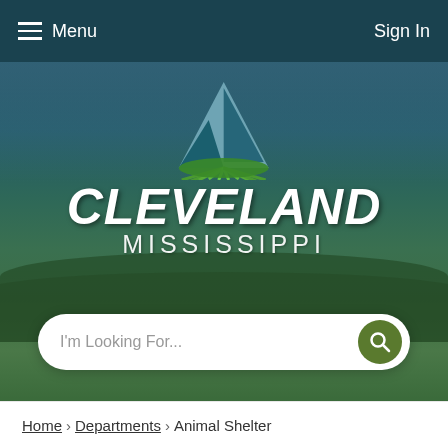Menu   Sign In
[Figure (screenshot): Cleveland Mississippi city website hero section with logo (triangle/mountain graphic), city name CLEVELAND MISSISSIPPI in white text, search bar with 'I'm Looking For...' placeholder, overlaid on a photo of green trees and sky]
I'm Looking For...
Home › Departments › Animal Shelter